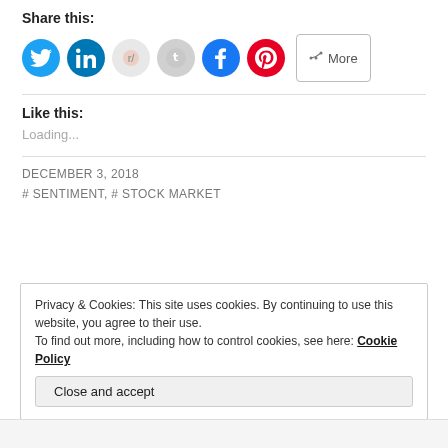Share this:
[Figure (other): Row of social share icons: Twitter (blue circle), LinkedIn (blue circle), Reddit (light gray circle), Tumblr/other (gray circle), Facebook (blue circle), Pinterest (red circle), and a More button]
Like this:
Loading...
DECEMBER 3, 2018
# SENTIMENT, # STOCK MARKET
Privacy & Cookies: This site uses cookies. By continuing to use this website, you agree to their use. To find out more, including how to control cookies, see here: Cookie Policy
Close and accept